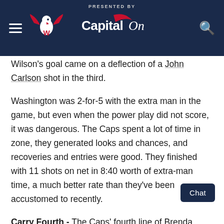Washington Capitals – Presented by Capital One
Wilson's goal came on a deflection of a John Carlson shot in the third.
Washington was 2-for-5 with the extra man in the game, but even when the power play did not score, it was dangerous. The Caps spent a lot of time in zone, they generated looks and chances, and recoveries and entries were good. They finished with 11 shots on net in 8:40 worth of extra-man time, a much better rate than they've been accustomed to recently.
Carry Fourth - The Caps' fourth line of Brenda...sic, Nic Dowd and Hathaway was instrumental in mounting